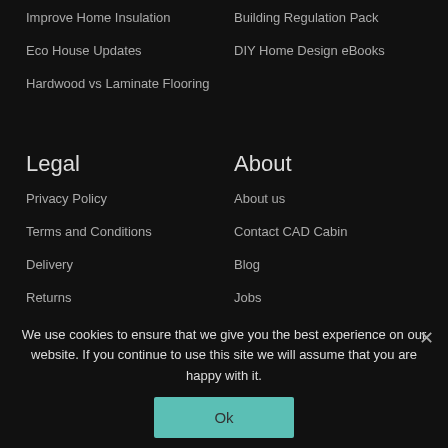Improve Home Insulation
Building Regulation Pack
Eco House Updates
DIY Home Design eBooks
Hardwood vs Laminate Flooring
Legal
About
Privacy Policy
About us
Terms and Conditions
Contact CAD Cabin
Delivery
Blog
Returns
Jobs
Cookies
We use cookies to ensure that we give you the best experience on our website. If you continue to use this site we will assume that you are happy with it.